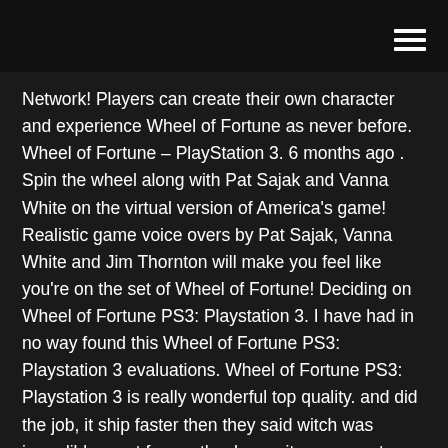Network! Players can create their own character and experience Wheel of Fortune as never before. Wheel of Fortune – PlayStation 3. 6 months ago . Spin the wheel along with Pat Sajak and Vanna White on the virtual version of America's game! Realistic game voice overs by Pat Sajak, Vanna White and Jim Thornton will make you feel like you're on the set of Wheel of Fortune! Deciding on Wheel of Fortune PS3: Playstation 3. I have had in no way found this Wheel of Fortune PS3: Playstation 3 evaluations. Wheel of Fortune PS3: Playstation 3 is really wonderful top quality. and did the job, it ship faster then they said witch was incredibly great for me thank you. its suppose to complete at a great worth! Here is my 3rd game of Wheel of Fortune 2nd Edition for the PlayStation, in which I have won